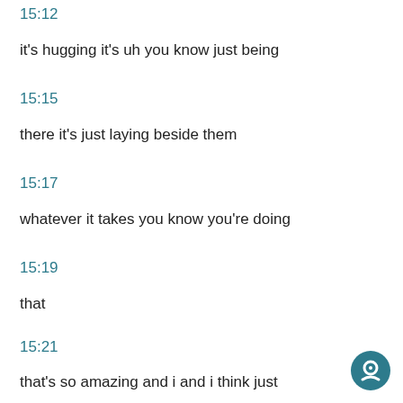15:12
it's hugging it's uh you know just being
15:15
there it's just laying beside them
15:17
whatever it takes you know you're doing
15:19
that
15:21
that's so amazing and i and i think just
[Figure (other): Teal circular chat/message icon button in the bottom right corner]